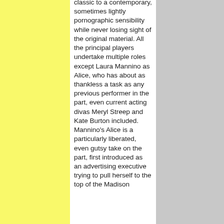classic to a contemporary, sometimes lightly pornographic sensibility while never losing sight of the original material. All the principal players undertake multiple roles except Laura Mannino as Alice, who has about as thankless a task as any previous performer in the part, even current acting divas Meryl Streep and Kate Burton included. Mannino's Alice is a particularly liberated, even gutsy take on the part, first introduced as an advertising executive trying to pull herself to the top of the Madison